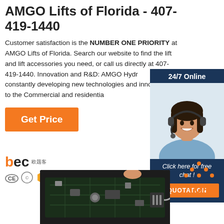AMGO Lifts of Florida - 407-419-1440
Customer satisfaction is the NUMBER ONE PRIORITY at AMGO Lifts of Florida. Search our website to find the lift and lift accessories you need, or call us directly at 407-419-1440. Innovation and R&D: AMGO Hydraulics is constantly developing new technologies and innovations to the Commercial and residential
Get Price
[Figure (infographic): 24/7 Online chat widget with customer service agent photo, 'Click here for free chat!' text, and orange QUOTATION button]
[Figure (logo): bec logo with Chinese characters and CE, certification, and gold shield icons]
[Figure (infographic): Orange TOP button with dots above]
[Figure (photo): Close-up photo of a circuit board / lift control panel, dark background]